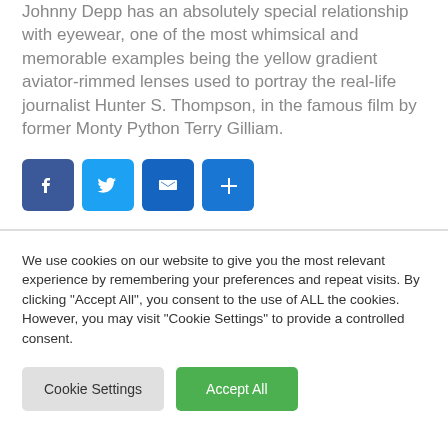Johnny Depp has an absolutely special relationship with eyewear, one of the most whimsical and memorable examples being the yellow gradient aviator-rimmed lenses used to portray the real-life journalist Hunter S. Thompson, in the famous film by former Monty Python Terry Gilliam.
[Figure (infographic): Social sharing buttons: Facebook (blue), Twitter (light blue), Email (dark blue), Share/Plus (blue)]
We use cookies on our website to give you the most relevant experience by remembering your preferences and repeat visits. By clicking "Accept All", you consent to the use of ALL the cookies. However, you may visit "Cookie Settings" to provide a controlled consent.
Cookie Settings | Accept All